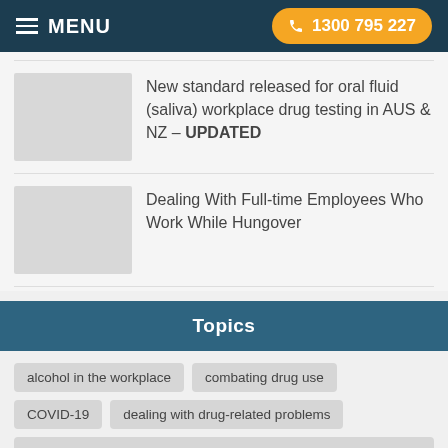MENU | 1300 795 227
New standard released for oral fluid (saliva) workplace drug testing in AUS & NZ – UPDATED
Dealing With Full-time Employees Who Work While Hungover
Topics
alcohol in the workplace
combating drug use
COVID-19
dealing with drug-related problems
drug-related workplace